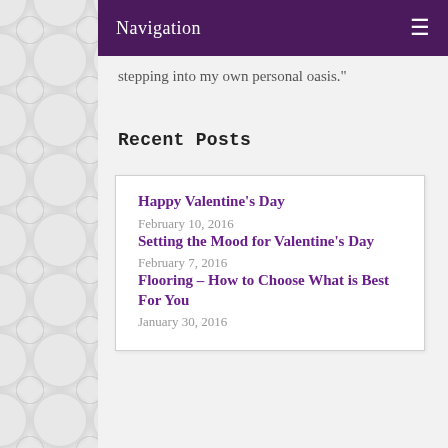Navigation
stepping into my own personal oasis."
Recent Posts
Happy Valentine's Day
February 10, 2016
Setting the Mood for Valentine's Day
February 7, 2016
Flooring – How to Choose What is Best For You
January 30, 2016